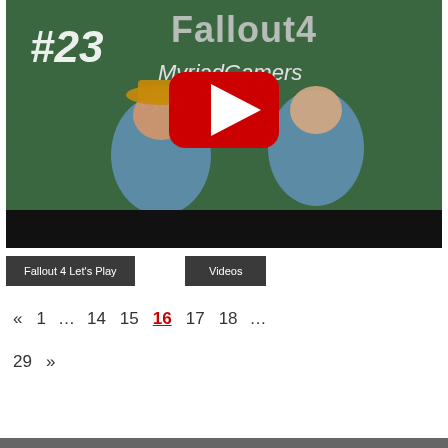[Figure (screenshot): YouTube video thumbnail for Fallout 4 Let's Play #23 featuring MyriadGamers – Lyitcun and MyriadMike, cartoon characters with weapons on a green background, with a YouTube play button overlay.]
Fallout 4 Let's Play
Videos
« 1 … 14 15 16 17 18 … 29 »